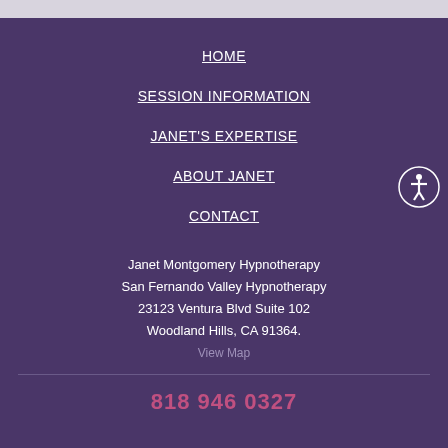HOME
SESSION INFORMATION
JANET'S EXPERTISE
ABOUT JANET
CONTACT
Janet Montgomery Hypnotherapy
San Fernando Valley Hypnotherapy
23123 Ventura Blvd Suite 102
Woodland Hills, CA 91364.
View Map
818 946 0327